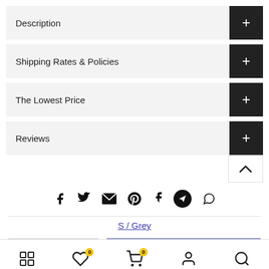Description
Shipping Rates & Policies
The Lowest Price
Reviews
[Figure (infographic): Social sharing icons row: Facebook, Twitter, Email, Pinterest, Tumblr, Telegram, WhatsApp]
S / Grey
- 1 + ADD TO CART
[Figure (infographic): Bottom navigation bar with grid/home icon, heart/wishlist icon with badge 0, cart icon with badge 0, user/account icon, search icon]